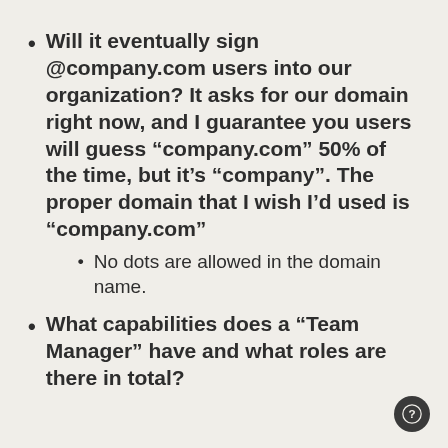Will it eventually sign @company.com users into our organization? It asks for our domain right now, and I guarantee you users will guess “company.com” 50% of the time, but it’s “company”. The proper domain that I wish I’d used is “company.com”
No dots are allowed in the domain name.
What capabilities does a “Team Manager” have and what roles are there in total?